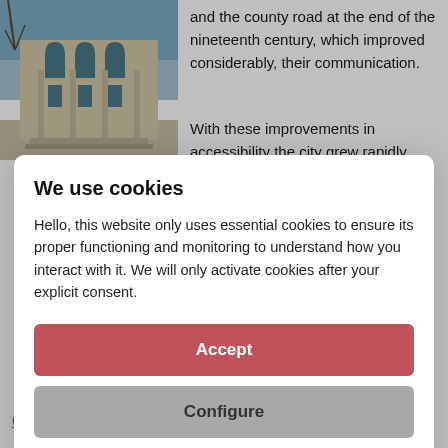[Figure (photo): Photo of an ornate historic building with Gothic-style arched windows and decorative facade, with bare trees visible against blue sky]
and the county road at the end of the nineteenth century, which improved considerably, their communication.
With these improvements in accessibility the city grew rapidly with new buildings that were
We use cookies
Hello, this website only uses essential cookies to ensure its proper functioning and monitoring to understand how you interact with it. We will only activate cookies after your explicit consent.
Accept
Configure
Cardedeu hosts the first commission received Kaspall